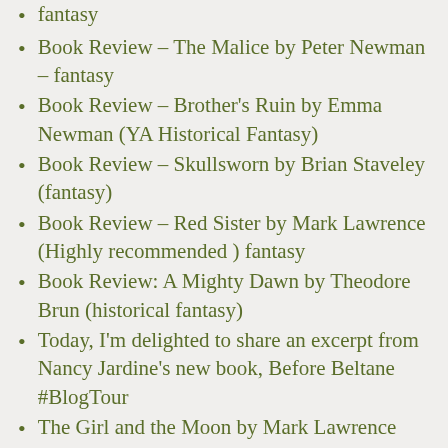fantasy
Book Review – The Malice by Peter Newman – fantasy
Book Review – Brother's Ruin by Emma Newman (YA Historical Fantasy)
Book Review – Skullsworn by Brian Staveley (fantasy)
Book Review – Red Sister by Mark Lawrence (Highly recommended ) fantasy
Book Review: A Mighty Dawn by Theodore Brun (historical fantasy)
Today, I'm delighted to share an excerpt from Nancy Jardine's new book, Before Beltane #BlogTour
The Girl and the Moon by Mark Lawrence #BookReview #Fantasy